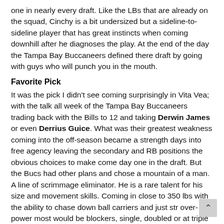one in nearly every draft. Like the LBs that are already on the squad, Cinchy is a bit undersized but a sideline-to-sideline player that has great instincts when coming downhill after he diagnoses the play. At the end of the day the Tampa Bay Buccaneers defined there draft by going with guys who will punch you in the mouth.
Favorite Pick
It was the pick I didn't see coming surprisingly in Vita Vea; with the talk all week of the Tampa Bay Buccaneers trading back with the Bills to 12 and taking Derwin James or even Derrius Guice. What was their greatest weakness coming into the off-season became a strength days into free agency leaving the secondary and RB positions the obvious choices to make come day one in the draft. But the Bucs had other plans and chose a mountain of a man. A line of scrimmage eliminator. He is a rare talent for his size and movement skills. Coming in close to 350 lbs with the ability to chase down ball carriers and just str over-power most would be blockers, single, doubled or at triple teamed, it didn't seem to matter. With power and strength